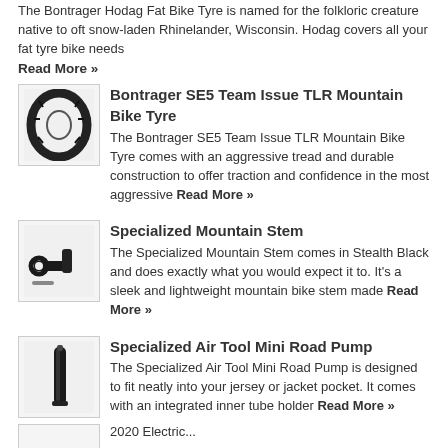The Bontrager Hodag Fat Bike Tyre is named for the folkloric creature native to oft snow-laden Rhinelander, Wisconsin. Hodag covers all your fat tyre bike needs
Read More »
[Figure (photo): Bontrager SE5 Team Issue TLR Mountain Bike Tyre product image]
Bontrager SE5 Team Issue TLR Mountain Bike Tyre
The Bontrager SE5 Team Issue TLR Mountain Bike Tyre comes with an aggressive tread and durable construction to offer traction and confidence in the most aggressive Read More »
[Figure (photo): Specialized Mountain Stem product image]
Specialized Mountain Stem
The Specialized Mountain Stem comes in Stealth Black and does exactly what you would expect it to. It's a sleek and lightweight mountain bike stem made Read More »
[Figure (photo): Specialized Air Tool Mini Road Pump product image]
Specialized Air Tool Mini Road Pump
The Specialized Air Tool Mini Road Pump is designed to fit neatly into your jersey or jacket pocket. It comes with an integrated inner tube holder Read More »
[Figure (photo): Partial product image at bottom of page]